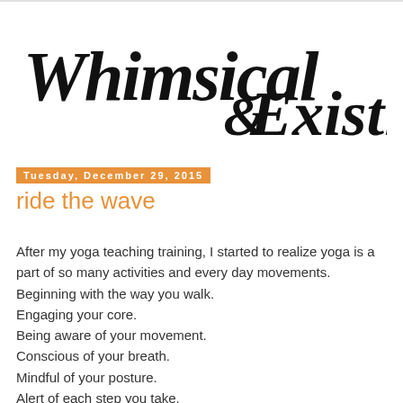[Figure (logo): Whimsical & Existing blog logo in large cursive/script black lettering]
Tuesday, December 29, 2015
ride the wave
After my yoga teaching training, I started to realize yoga is a part of so many activities and every day movements. Beginning with the way you walk. Engaging your core. Being aware of your movement. Conscious of your breath. Mindful of your posture. Alert of each step you take. If you bring the yoga mindset into something as simple as